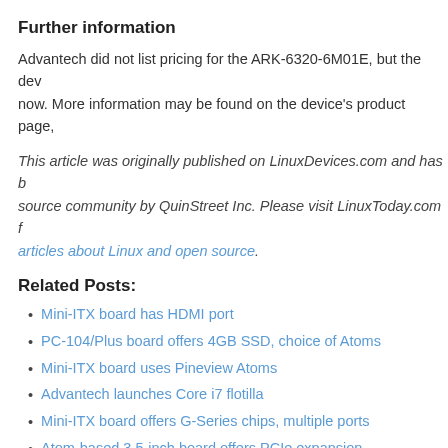Further information
Advantech did not list pricing for the ARK-6320-6M01E, but the dev now. More information may be found on the device's product page,
This article was originally published on LinuxDevices.com and has been migrated to the open source community by QuinStreet Inc. Please visit LinuxToday.com for more articles about Linux and open source.
Related Posts:
Mini-ITX board has HDMI port
PC-104/Plus board offers 4GB SSD, choice of Atoms
Mini-ITX board uses Pineview Atoms
Advantech launches Core i7 flotilla
Mini-ITX board offers G-Series chips, multiple ports
Atom-based 3.5-inch board offers PCIe expansion
Industrial PC gets 3G, dual-core Atom
PICMG 1.0 board features choice of Atoms
Advantech unveils 'Cedar Trail' embedded modules and SBC
Nano-ITX board saves power with single-core Atom